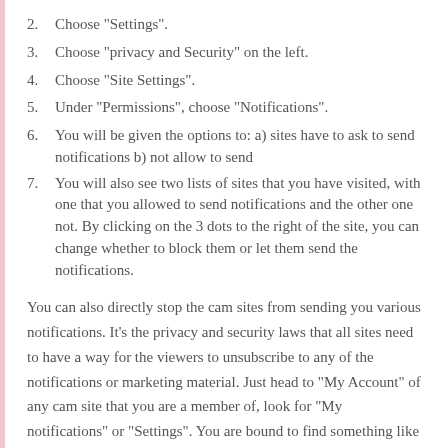2. Choose “Settings”.
3. Choose “privacy and Security” on the left.
4. Choose “Site Settings”.
5. Under “Permissions”, choose “Notifications”.
6. You will be given the options to: a) sites have to ask to send notifications b) not allow to send
7. You will also see two lists of sites that you have visited, with one that you allowed to send notifications and the other one not. By clicking on the 3 dots to the right of the site, you can change whether to block them or let them send the notifications.
You can also directly stop the cam sites from sending you various notifications. It’s the privacy and security laws that all sites need to have a way for the viewers to unsubscribe to any of the notifications or marketing material. Just head to “My Account” of any cam site that you are a member of, look for “My notifications” or “Settings”. You are bound to find something like that: